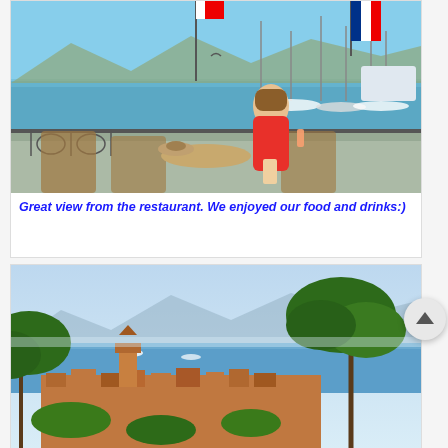[Figure (photo): Woman in red top sitting at a waterfront restaurant terrace with rattan chairs, holding a drink, yachts and flags (including French flag) visible in harbor background, mountains in distance]
Great view from the restaurant. We enjoyed our food and drinks:)
[Figure (photo): Aerial/elevated panoramic view of a Mediterranean coastal town (Saint-Tropez) with terracotta rooftops, a bell tower, harbor with boats, blue sea, mountains, and umbrella pine trees in foreground]